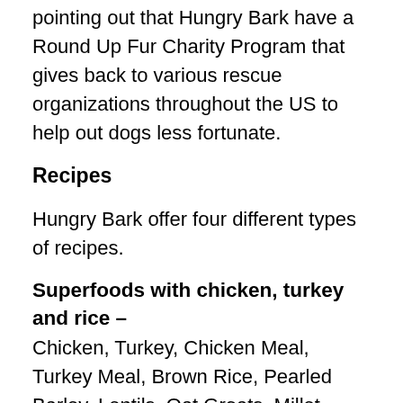pointing out that Hungry Bark have a Round Up Fur Charity Program that gives back to various rescue organizations throughout the US to help out dogs less fortunate.
Recipes
Hungry Bark offer four different types of recipes.
Superfoods with chicken, turkey and rice –
Chicken, Turkey, Chicken Meal, Turkey Meal, Brown Rice, Pearled Barley, Lentils, Oat Groats, Millet, Field Peas, Chicken Fat (Preserved With Mixed Tocopherols), Dried Beet Pulp, Menhaden Fish Meal, Tapioca Starch, Natural Flavor, Flaxseed, Brewers Dried Yeast and more.